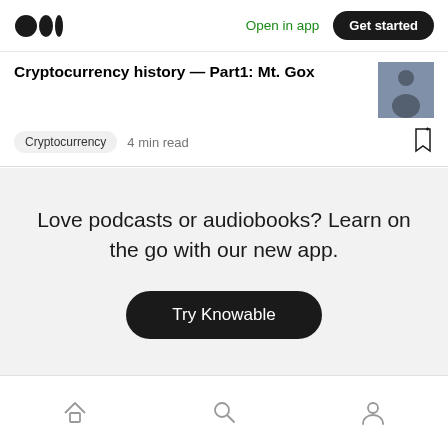Open in app  Get started
Cryptocurrency history — Part1: Mt. Gox
Cryptocurrency  4 min read
Love podcasts or audiobooks? Learn on the go with our new app.
Try Knowable
Home  Search  Profile